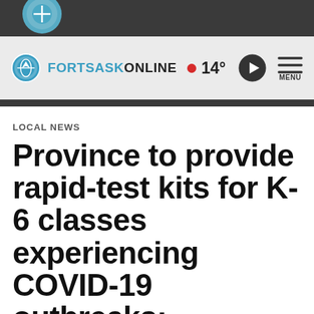[Figure (screenshot): Top dark navigation bar with partial logo visible]
FORTSASKONLINE  • 14°  ▶  MENU
LOCAL NEWS
Province to provide rapid-test kits for K-6 classes experiencing COVID-19 outbreaks;